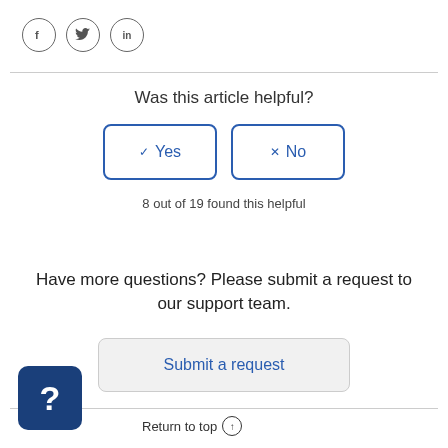[Figure (other): Social media sharing icons: Facebook (f), Twitter (bird), LinkedIn (in)]
Was this article helpful?
[Figure (other): Two buttons: checkmark Yes and X No, both styled with blue border]
8 out of 19 found this helpful
Have more questions? Please submit a request to our support team.
Submit a request
Return to top ↑
[Figure (other): Blue rounded square help widget with white question mark]